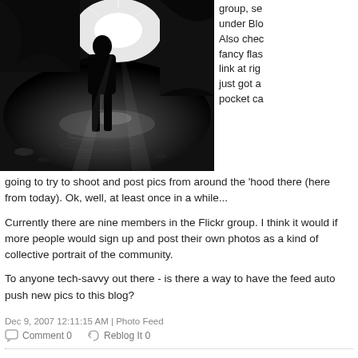[Figure (photo): Black and white photograph of a person walking through a puddle or wet surface, silhouetted against bright backlight, with reflections visible on the water surface.]
group, se under Blo Also chec fancy flas link at rig just got a pocket ca going to try to shoot and post pics from around the 'hood there (here from today). Ok, well, at least once in a while...
Currently there are nine members in the Flickr group. I think it would if more people would sign up and post their own photos as a kind of collective portrait of the community.
To anyone tech-savvy out there - is there a way to have the feed auto push new pics to this blog?
Dec 9, 2007 12:11:15 AM | Photo Feed
Comment 0   Reblog It 0
Soldiers Home plan